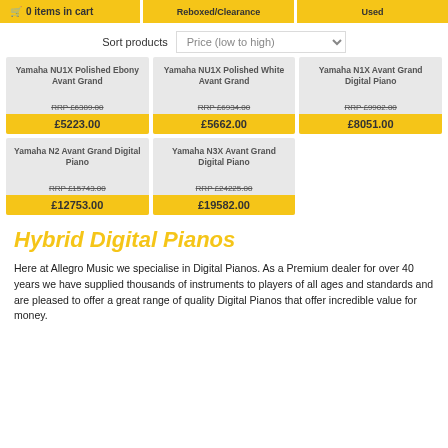0 items in cart | Reboxed/Clearance | Used
Sort products Price (low to high)
| Product | RRP | Sale Price |
| --- | --- | --- |
| Yamaha NU1X Polished Ebony Avant Grand | £6389.00 | £5223.00 |
| Yamaha NU1X Polished White Avant Grand | £6934.00 | £5662.00 |
| Yamaha N1X Avant Grand Digital Piano | £9902.00 | £8051.00 |
| Yamaha N2 Avant Grand Digital Piano | £15743.00 | £12753.00 |
| Yamaha N3X Avant Grand Digital Piano | £24225.00 | £19582.00 |
Hybrid Digital Pianos
Here at Allegro Music we specialise in Digital Pianos. As a Premium dealer for over 40 years we have supplied thousands of instruments to players of all ages and standards and are pleased to offer a great range of quality Digital Pianos that offer incredible value for money.